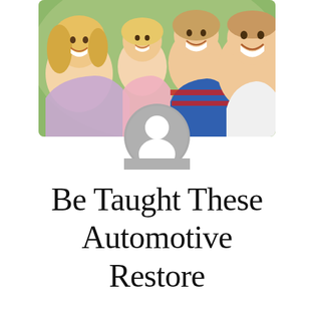[Figure (photo): A happy family of four — a mother, father, and two young daughters — smiling and laughing outdoors in a bright, cheerful photo.]
[Figure (illustration): A generic grey user/avatar profile icon — a circle with a silhouette of a person (head and shoulders) in white.]
Be Taught These Automotive Restore